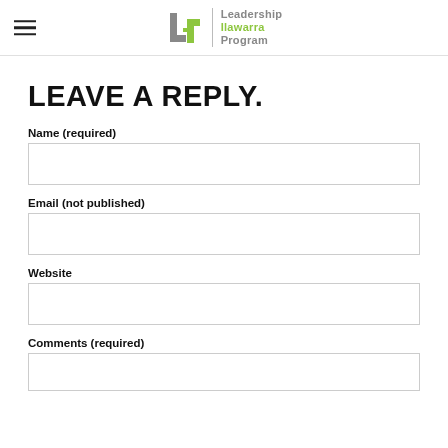Leadership Ilawarra Program
LEAVE A REPLY.
Name (required)
Email (not published)
Website
Comments (required)